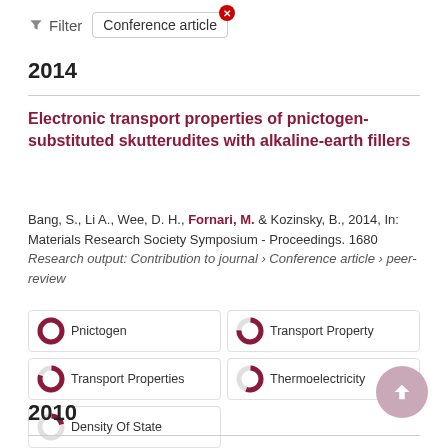Filter   Conference article ✕
2014
Electronic transport properties of pnictogen-substituted skutterudites with alkaline-earth fillers
Bang, S., Li A., Wee, D. H., Fornari, M. & Kozinsky, B., 2014, In: Materials Research Society Symposium - Proceedings. 1680
Research output: Contribution to journal › Conference article › peer-review
[Figure (infographic): Five keyword badges with donut chart icons showing coverage percentages: Pnictogen (~100%), Transport Property (~75%), Transport Properties (~80%), Thermoelectricity (~55%), Density Of State (~20%)]
2010